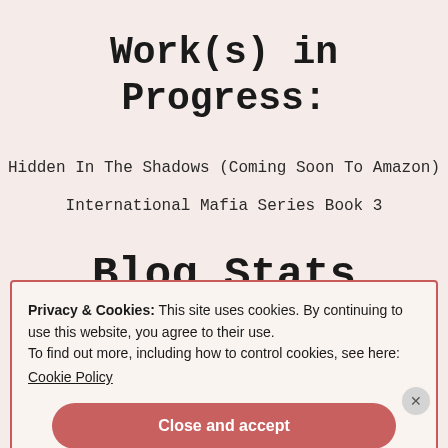Work(s) in Progress:
Hidden In The Shadows (Coming Soon To Amazon)
International Mafia Series Book 3
Blog Stats
Privacy & Cookies: This site uses cookies. By continuing to use this website, you agree to their use.
To find out more, including how to control cookies, see here: Cookie Policy
Close and accept